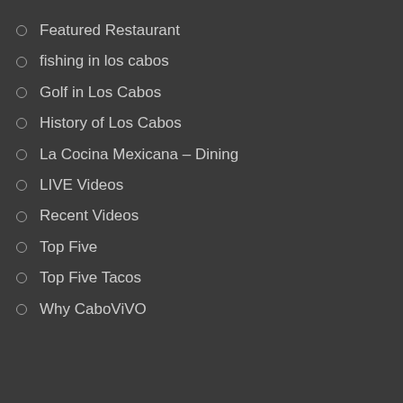Featured Restaurant
fishing in los cabos
Golf in Los Cabos
History of Los Cabos
La Cocina Mexicana – Dining
LIVE Videos
Recent Videos
Top Five
Top Five Tacos
Why CaboViVO